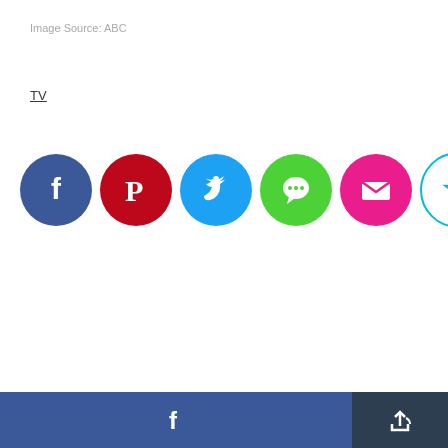Image Source: ABC
TV
[Figure (infographic): Row of six social media/share icons: Facebook (dark blue circle), Pinterest (dark red circle), Twitter (sky blue circle), Messages/Chat (green circle), Email/Mail (pink circle), Bookmark/Star (white circle with cyan outline)]
[Figure (infographic): Bottom bar with Facebook share button (blue, wide) and a share/forward button (dark navy, narrow)]